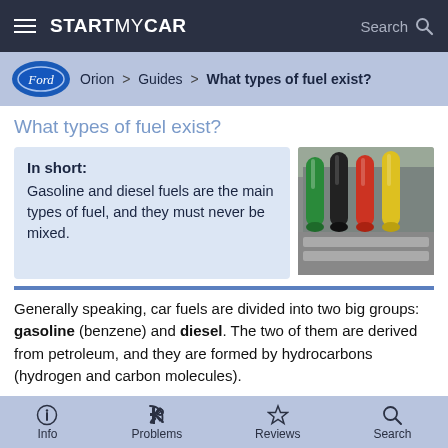STARTMYCAR — Search
Orion > Guides > What types of fuel exist?
What types of fuel exist?
In short: Gasoline and diesel fuels are the main types of fuel, and they must never be mixed.
[Figure (photo): Photo of multiple fuel pump nozzles in green, red, and yellow colors at a gas station]
Generally speaking, car fuels are divided into two big groups: gasoline (benzene) and diesel. The two of them are derived from petroleum, and they are formed by hydrocarbons (hydrogen and carbon molecules).
⚠ The main rule is that you must only use diesel in Diesel engines and gasoline in spark-ignition engines (called "Otto
Info   Problems   Reviews   Search